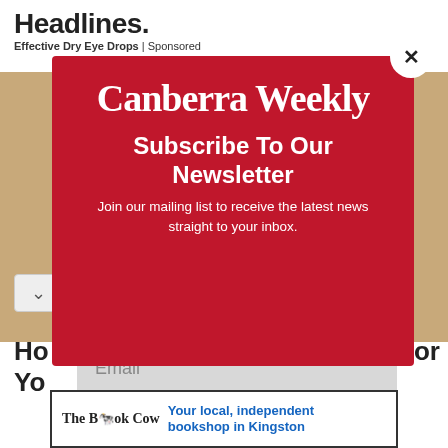Headlines.
Effective Dry Eye Drops | Sponsored
[Figure (screenshot): Background webpage showing partial article headlines and a brown/beige image area]
[Figure (infographic): Canberra Weekly newsletter subscription modal popup on red background with close button, logo, subscribe heading, subtext, email input, and subscribe button]
Canberra Weekly
Subscribe To Our Newsletter
Join our mailing list to receive the latest news straight to your inbox.
[Figure (logo): The Book Cow logo with cow illustration]
Your local, independent bookshop in Kingston